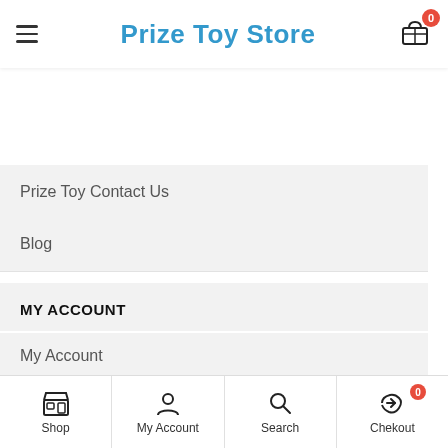Prize Toy Store
Prize Toy Contact Us
Blog
MY ACCOUNT
My Account
Closeouts for Sports Accessories, Board Games, Art, Coolers, and Drinkware. GET 5% OFF Most Categories= COUPON CODE – PRIZE5OFF1 Dismiss
Shop | My Account | Search | Checkout